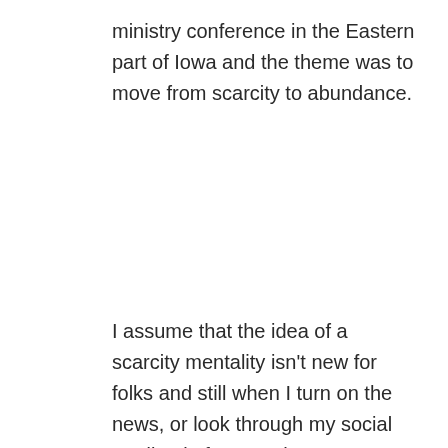ministry conference in the Eastern part of Iowa and the theme was to move from scarcity to abundance.
I assume that the idea of a scarcity mentality isn't new for folks and still when I turn on the news, or look through my social media platforms or host conversations with churches or pastors